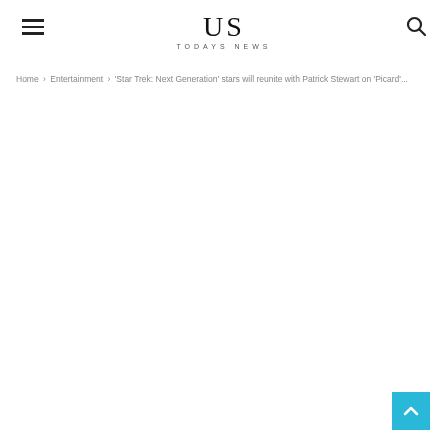US TODAYS NEWS
Home › Entertainment › 'Star Trek: Next Generation' stars will reunite with Patrick Stewart on 'Picard'...